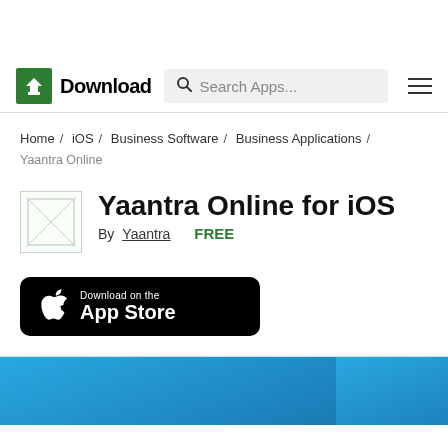[Figure (logo): Download.com logo with green icon and bold text 'Download', plus search bar and hamburger menu]
Home / iOS / Business Software / Business Applications / Yaantra Online
Yaantra Online for iOS
By Yaantra   FREE
[Figure (screenshot): Download on the App Store button (black rounded rectangle)]
[Figure (screenshot): Blue app screenshot strip at the bottom of the page]